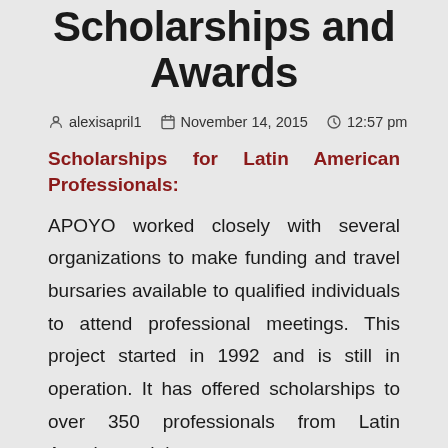Scholarships and Awards
alexisapril1   November 14, 2015   12:57 pm
Scholarships for Latin American Professionals:
APOYO worked closely with several organizations to make funding and travel bursaries available to qualified individuals to attend professional meetings. This project started in 1992 and is still in operation. It has offered scholarships to over 350 professionals from Latin America and the